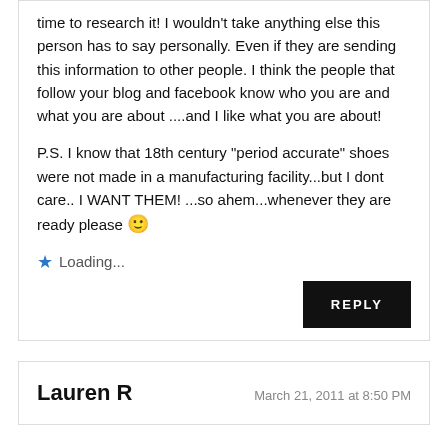time to research it! I wouldn't take anything else this person has to say personally. Even if they are sending this information to other people. I think the people that follow your blog and facebook know who you are and what you are about ....and I like what you are about!
P.S. I know that 18th century "period accurate" shoes were not made in a manufacturing facility...but I dont care.. I WANT THEM! ...so ahem...whenever they are ready please 🙂
⭐ Loading...
REPLY
Lauren R
March 21, 2011 at 8:50 PM